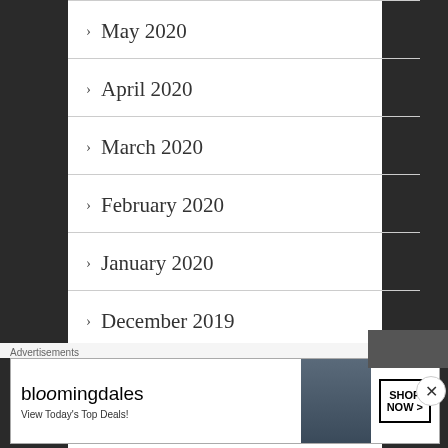> May 2020
> April 2020
> March 2020
> February 2020
> January 2020
> December 2019
> November 2019
[Figure (illustration): Bloomingdales advertisement banner with woman in hat. Text: bloomingdales, View Today's Top Deals!, SHOP NOW >]
Advertisements